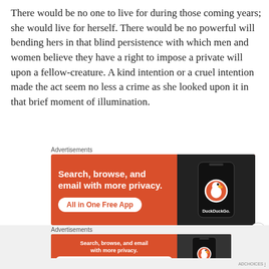There would be no one to live for during those coming years; she would live for herself. There would be no powerful will bending hers in that blind persistence with which men and women believe they have a right to impose a private will upon a fellow-creature. A kind intention or a cruel intention made the act seem no less a crime as she looked upon it in that brief moment of illumination.
Advertisements
[Figure (screenshot): DuckDuckGo advertisement banner: orange background with text 'Search, browse, and email with more privacy. All in One Free App' and a phone showing the DuckDuckGo logo]
Advertisements
[Figure (screenshot): DuckDuckGo advertisement banner (smaller): orange background with text 'Search, browse, and email with more privacy. All in One Free App' and a phone showing the DuckDuckGo logo]